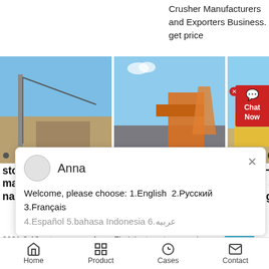Crusher Manufacturers and Exporters Business. get price
[Figure (photo): Three photos showing stone crushing machinery equipment outdoors with blue sky background]
[Figure (screenshot): Chat popup overlay with avatar named Anna, message: Welcome, please choose: 1.English 2.Русский 3.Français 4.Español 5.bahasa Indonesia 6.العربية]
stone crushing machine in gujrat nastawach.pl
2021-9-13   stone quarry for sale in
Stone Crusher In Ahmedabad, Stone Crusher Dealers
Find the top stone crusher dealers,
M/s, ZAHOORB K. MISTRY Stone Crushing Plant
Stone Crushing
Home   Product   Cases   Contact